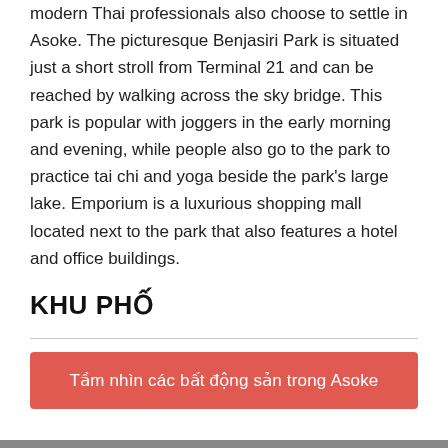modern Thai professionals also choose to settle in Asoke. The picturesque Benjasiri Park is situated just a short stroll from Terminal 21 and can be reached by walking across the sky bridge. This park is popular with joggers in the early morning and evening, while people also go to the park to practice tai chi and yoga beside the park's large lake. Emporium is a luxurious shopping mall located next to the park that also features a hotel and office buildings.
KHU PHỐ
Tầm nhìn các bất động sản trong Asoke